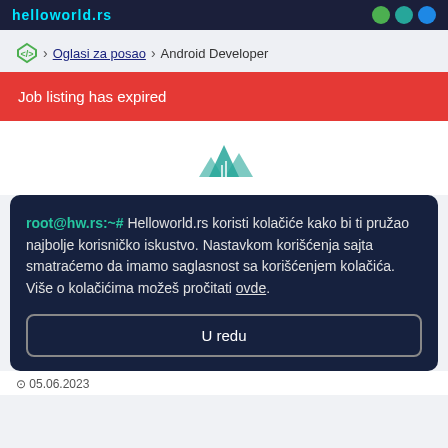helloworld.rs
> Oglasi za posao > Android Developer
Job listing has expired
[Figure (logo): Helloworld.rs teal mountain/peaks logo]
root@hw.rs:~# Helloworld.rs koristi kolačiće kako bi ti pružao najbolje korisničko iskustvo. Nastavkom korišćenja sajta smatraćemo da imamo saglasnost sa korišćenjem kolačića. Više o kolačićima možeš pročitati ovde.
U redu